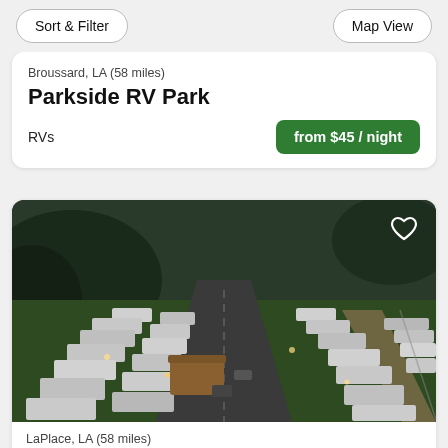Sort & Filter | Map View
Broussard, LA (58 miles)
Parkside RV Park
RVs
from $45 / night
[Figure (photo): Aerial drone photo at dusk of an RV and mobile home park with rows of RVs and trailers arranged along a central road, surrounded by trees and green lawn]
LaPlace, LA (58 miles)
R & S Mobile Home & RV Park